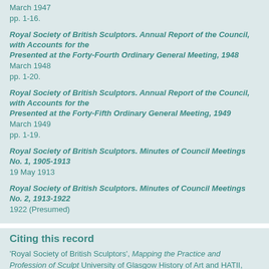Royal Society of British Sculptors. Annual Report of the Council, with Accounts for the Presented at the Forty-Fourth Ordinary General Meeting, 1948
March 1948
pp. 1-20.
Royal Society of British Sculptors. Annual Report of the Council, with Accounts for the Presented at the Forty-Fifth Ordinary General Meeting, 1949
March 1949
pp. 1-19.
Royal Society of British Sculptors. Minutes of Council Meetings No. 1, 1905-1913
19 May 1913
Royal Society of British Sculptors. Minutes of Council Meetings No. 2, 1913-1922
1922 (Presumed)
Citing this record
'Royal Society of British Sculptors', Mapping the Practice and Profession of Sculpt University of Glasgow History of Art and HATII, online database 2011 [http://sculpt id=msib2_1219747847, accessed 28 Aug 2022]
Noticed a mistake? Have some extra information about this record? Click her